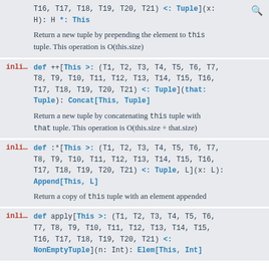T16, T17, T18, T19, T20, T21) <: Tuple](x: H): H *: This
Return a new tuple by prepending the element to this tuple. This operation is O(this.size)
inli… def ++[This >: (T1, T2, T3, T4, T5, T6, T7, T8, T9, T10, T11, T12, T13, T14, T15, T16, T17, T18, T19, T20, T21) <: Tuple](that: Tuple): Concat[This, Tuple]
Return a new tuple by concatenating this tuple with that tuple. This operation is O(this.size + that.size)
inli… def :*[This >: (T1, T2, T3, T4, T5, T6, T7, T8, T9, T10, T11, T12, T13, T14, T15, T16, T17, T18, T19, T20, T21) <: Tuple, L](x: L): Append[This, L]
Return a copy of this tuple with an element appended
inli… def apply[This >: (T1, T2, T3, T4, T5, T6, T7, T8, T9, T10, T11, T12, T13, T14, T15, T16, T17, T18, T19, T20, T21) <: NonEmptyTuple](n: Int): Elem[This, Int]